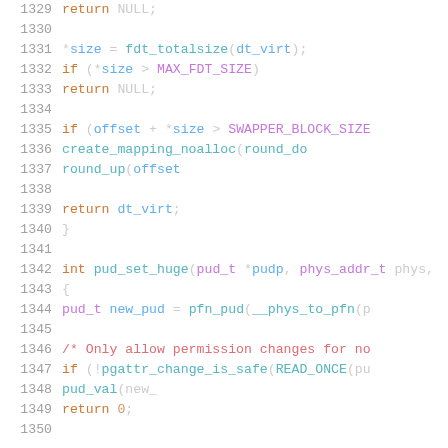[Figure (screenshot): Source code listing (C language) showing lines 1329-1350, with syntax highlighting on a white background. Line numbers in gray on the left, keywords in orange, types in purple, function names in cyan, comments in red.]